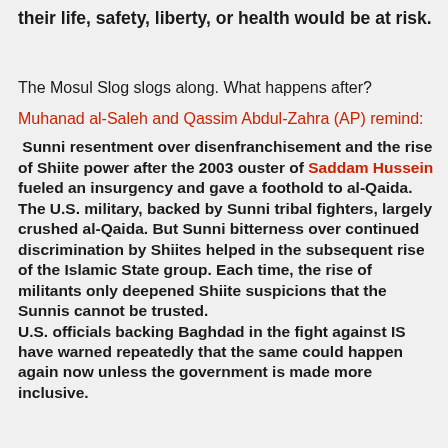their life, safety, liberty, or health would be at risk.
The Mosul Slog slogs along.  What happens after?
Muhanad al-Saleh and Qassim Abdul-Zahra (AP) remind:
Sunni resentment over disenfranchisement and the rise of Shiite power after the 2003 ouster of Saddam Hussein fueled an insurgency and gave a foothold to al-Qaida. The U.S. military, backed by Sunni tribal fighters, largely crushed al-Qaida. But Sunni bitterness over continued discrimination by Shiites helped in the subsequent rise of the Islamic State group. Each time, the rise of militants only deepened Shiite suspicions that the Sunnis cannot be trusted.
U.S. officials backing Baghdad in the fight against IS have warned repeatedly that the same could happen again now unless the government is made more inclusive.